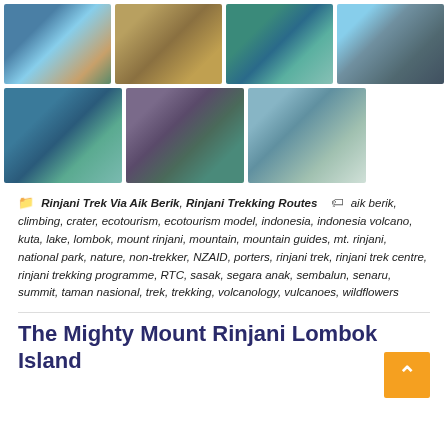[Figure (photo): Grid of 7 photos showing Mount Rinjani trek: views of crater lake, trekkers on trails, volcanic landscape, and panoramic mountain scenery.]
Rinjani Trek Via Aik Berik, Rinjani Trekking Routes  aik berik, climbing, crater, ecotourism, ecotourism model, indonesia, indonesia volcano, kuta, lake, lombok, mount rinjani, mountain, mountain guides, mt. rinjani, national park, nature, non-trekker, NZAID, porters, rinjani trek, rinjani trek centre, rinjani trekking programme, RTC, sasak, segara anak, sembalun, senaru, summit, taman nasional, trek, trekking, volcanology, vulcanoes, wildflowers
The Mighty Mount Rinjani Lombok Island